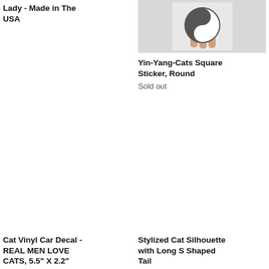Lady - Made in The USA
[Figure (photo): Yin-Yang cats round sticker product image - dark circular sticker with yin-yang cat design held by fingers]
Yin-Yang-Cats Square Sticker, Round
Sold out
[Figure (photo): Cat Vinyl Car Decal product image - blank/empty image area]
Cat Vinyl Car Decal - REAL MEN LOVE CATS, 5.5" X 2.2"
[Figure (photo): Stylized cat silhouette with long S shaped tail product image]
Stylized Cat Silhouette with Long S Shaped Tail